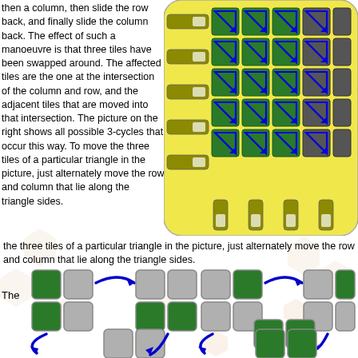then a column, then slide the row back, and finally slide the column back. The effect of such a manoeuvre is that three tiles have been swapped around. The affected tiles are the one at the intersection of the column and row, and the adjacent tiles that are moved into that intersection. The picture on the right shows all possible 3-cycles that occur this way. To move the three tiles of a particular triangle in the picture, just alternately move the row and column that lie along the triangle sides.
[Figure (illustration): A sliding puzzle board diagram showing a yellow rounded rectangle with a grid of green and dark gray tiles, with blue triangle arrows showing all possible 3-cycles. The board has row and column sliders (olive-colored bars with white rectangles).]
[Figure (illustration): Two sets of 2x2 tile arrangements connected by blue curved arrows showing 3-cycle swaps. Left set: green tiles in top-left and bottom-left, gray in top-right; arrows show cycling to green bottom row; bottom shows all-gray 2x2. Right set: gray top-left, green top-right; arrows show cycling; bottom shows green bottom-right 2x2. The word 'The' appears to the left.]